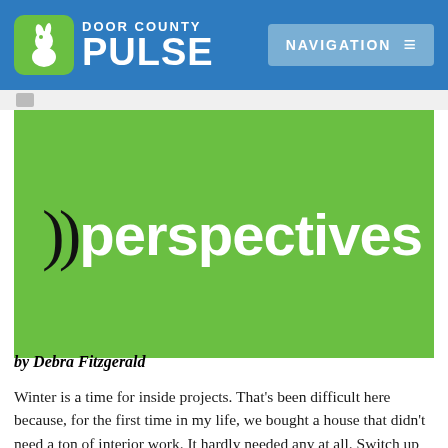Door County Pulse — Navigation
[Figure (logo): Door County Pulse website header with green rabbit logo, bold white PULSE text on blue background, and a gray Navigation button with hamburger menu icon]
[Figure (illustration): Green banner with large white bold text reading '))perspectives' where )) are dark bracket symbols]
by Debra Fitzgerald
Winter is a time for inside projects. That's been difficult here because, for the first time in my life, we bought a house that didn't need a ton of interior work. It hardly needed any at all. Switch up some drawer pulls, add a barn door, refinish some of